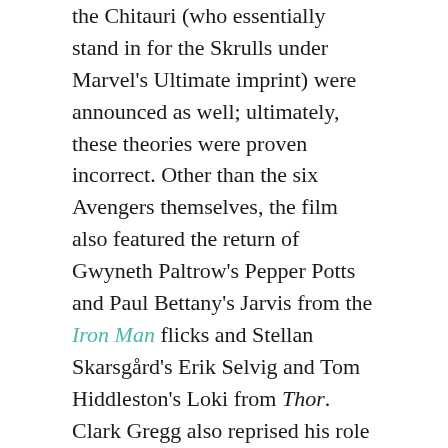the Chitauri (who essentially stand in for the Skrulls under Marvel's Ultimate imprint) were announced as well; ultimately, these theories were proven incorrect. Other than the six Avengers themselves, the film also featured the return of Gwyneth Paltrow's Pepper Potts and Paul Bettany's Jarvis from the Iron Man flicks and Stellan Skarsgård's Erik Selvig and Tom Hiddleston's Loki from Thor. Clark Gregg also reprised his role as Agent Coulson, and Samuel L. Jackson is featured as Director Nick Fury.
Early story work was completed by Zak Penn, who also contributed to the story for the excellent X2 and co-wrote the screenplay for the abysmal X3; the script was rewritten by Joss Whedon when he was brought on board to direct. There's no need to explain who Whedon is, right? There are probably sea mollusks out there that